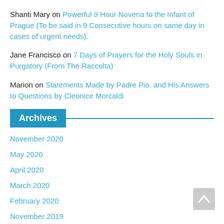Shanti Mary on Powerful 9 Hour Novena to the Infant of Prague (To be said in 9 Consecutive hours on same day in cases of urgent needs).
Jane Francisco on 7 Days of Prayers for the Holy Souls in Purgatory (From The Raccolta)
Marion on Statements Made by Padre Pio, and His Answers to Questions by Cleonice Morcaldi
Archives
November 2020
May 2020
April 2020
March 2020
February 2020
November 2019